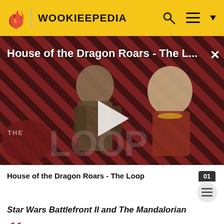WOOKIEEPEDIA
[Figure (screenshot): Video thumbnail for 'House of the Dragon Roars - The Loop' showing two characters from the show against a diagonal red and black stripe pattern background with THE LOOP branding and a play button]
House of the Dragon Roars - The Loop
Star Wars Battlefront II and The Mandalorian
"